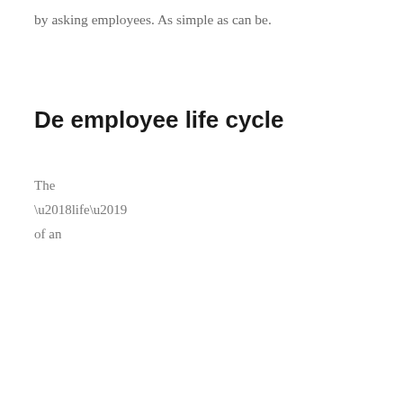by asking employees. As simple as can be.
De employee life cycle
The
‘life’
of an